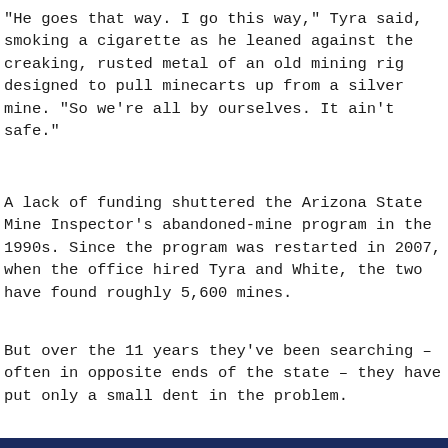“He goes that way. I go this way,” Tyra said, smoking a cigarette as he leaned against the creaking, rusted metal of an old mining rig designed to pull minecarts up from a silver mine. “So we’re all by ourselves. It ain’t safe.”
A lack of funding shuttered the Arizona State Mine Inspector’s abandoned-mine program in the 1990s. Since the program was restarted in 2007, when the office hired Tyra and White, the two have found roughly 5,600 mines.
But over the 11 years they’ve been searching – often in opposite ends of the state – they have put only a small dent in the problem.